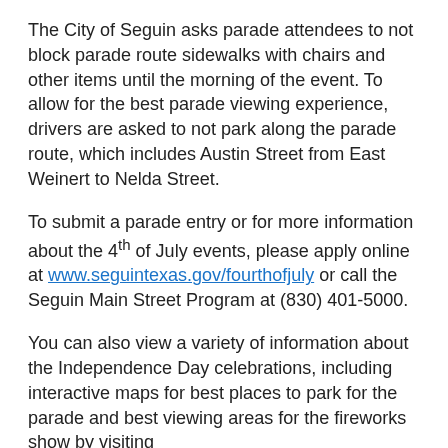The City of Seguin asks parade attendees to not block parade route sidewalks with chairs and other items until the morning of the event. To allow for the best parade viewing experience, drivers are asked to not park along the parade route, which includes Austin Street from East Weinert to Nelda Street.
To submit a parade entry or for more information about the 4th of July events, please apply online at www.seguintexas.gov/fourthofjuly or call the Seguin Main Street Program at (830) 401-5000.
You can also view a variety of information about the Independence Day celebrations, including interactive maps for best places to park for the parade and best viewing areas for the fireworks show by visiting https://arcg.is/05rTyv